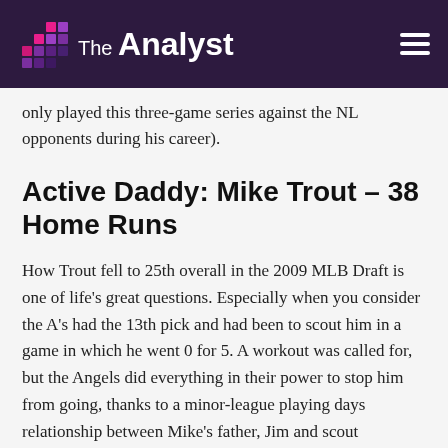The Analyst
only played this three-game series against the NL opponents during his career).
Active Daddy: Mike Trout – 38 Home Runs
How Trout fell to 25th overall in the 2009 MLB Draft is one of life's great questions. Especially when you consider the A's had the 13th pick and had been to scout him in a game in which he went 0 for 5. A workout was called for, but the Angels did everything in their power to stop him from going, thanks to a minor-league playing days relationship between Mike's father, Jim and scout